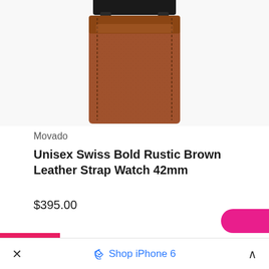[Figure (photo): Close-up photo of a brown leather watch strap with dark metal attachment hardware, shown against a white/light gray background. The strap is rustic brown leather.]
Movado
Unisex Swiss Bold Rustic Brown Leather Strap Watch 42mm
$395.00
× Shop iPhone 6 ^